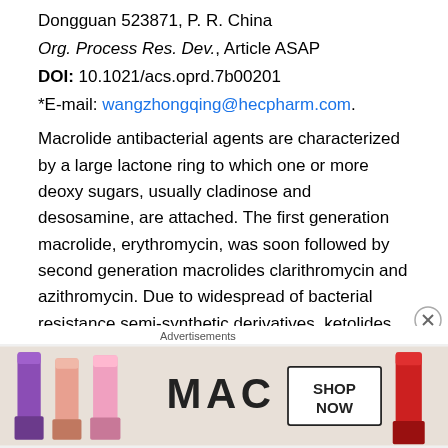Dongguan 523871, P. R. China
Org. Process Res. Dev., Article ASAP
DOI: 10.1021/acs.oprd.7b00201
*E-mail: wangzhongqing@hecpharm.com.
Macrolide antibacterial agents are characterized by a large lactone ring to which one or more deoxy sugars, usually cladinose and desosamine, are attached. The first generation macrolide, erythromycin, was soon followed by second generation macrolides clarithromycin and azithromycin. Due to widespread of bacterial resistance semi-synthetic derivatives, ketolides, were developed. These, third generation macrolides, to which, for example, belongs telithromycin, are used to treat respiratory tract
[Figure (photo): Advertisement banner showing MAC cosmetics lipsticks with SHOP NOW button]